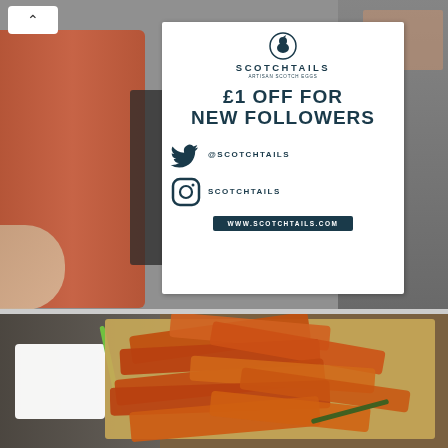[Figure (photo): Photo of a Scotchtails restaurant promotional sign offering £1 off for new followers on Twitter (@SCOTCHTAILS) and Instagram (SCOTCHTAILS), with website www.scotchtails.com. A bottle and other items visible in the background.]
[Figure (photo): Photo of sweet potato fries in a cardboard takeaway box, with a white dipping sauce cup and green straw visible.]